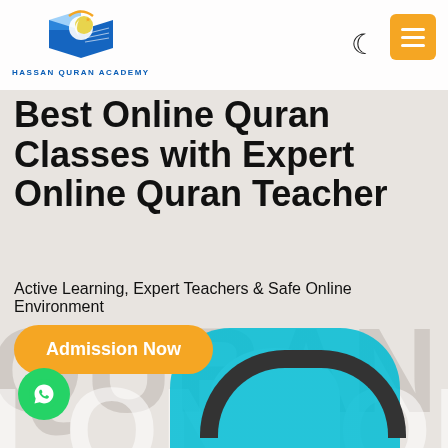[Figure (logo): Hassan Quran Academy logo with open book and crescent icon in blue and gold]
[Figure (screenshot): Website hero section with watermark text QURAN LONDON, person wearing headphones and hijab, cyan collar]
Best Online Quran Classes with Expert Online Quran Teacher
Active Learning, Expert Teachers & Safe Online Environment
Admission Now
[Figure (other): WhatsApp floating button (green circle with phone icon)]